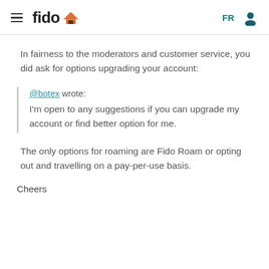fido [logo] FR [user icon]
In fairness to the moderators and customer service, you did ask for options upgrading your account:
@botex wrote: I'm open to any suggestions if you can upgrade my account or find better option for me.
The only options for roaming are Fido Roam or opting out and travelling on a pay-per-use basis.
Cheers